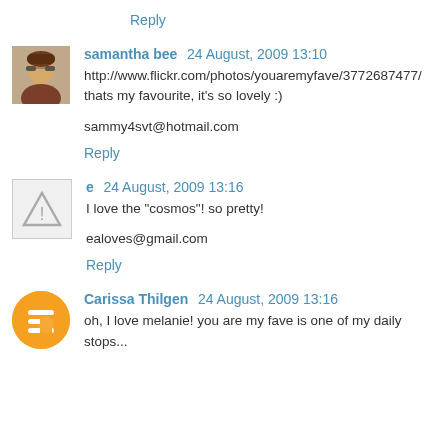Reply
samantha bee  24 August, 2009 13:10
http://www.flickr.com/photos/youaremyfave/3772687477/
thats my favourite, it's so lovely :)

sammy4svt@hotmail.com
Reply
e  24 August, 2009 13:16
I love the "cosmos"! so pretty!

ealoves@gmail.com
Reply
Carissa Thilgen  24 August, 2009 13:16
oh, I love melanie! you are my fave is one of my daily stops...